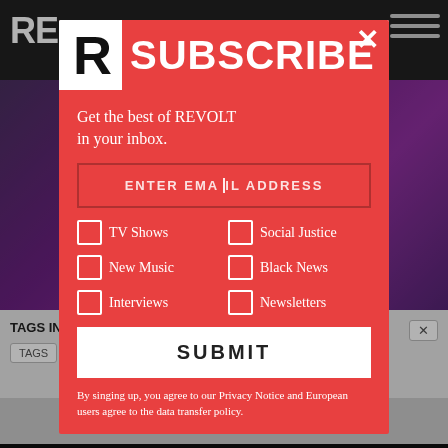[Figure (screenshot): Website background showing a dark header with 'RE' logo text, a purple/dark video player area, video playback controls at the bottom, and a 'TAGS IN' section below with tag buttons]
[Figure (screenshot): Modal popup overlay with red background featuring the REVOLT R logo, SUBSCRIBE heading, email signup form with 'ENTER EMAIL ADDRESS' input, checkboxes for TV Shows, Social Justice, New Music, Black News, Interviews, Newsletters, a SUBMIT button, and a privacy notice footer]
R SUBSCRIBE
Get the best of REVOLT in your inbox.
ENTER EMAIL ADDRESS
TV Shows
Social Justice
New Music
Black News
Interviews
Newsletters
SUBMIT
By singing up, you agree to our Privacy Notice and European users agree to the data transfer policy.